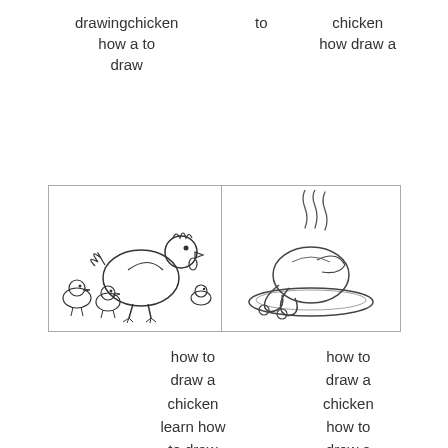drawingchicken
how a to
draw
to
chicken
how draw a
[Figure (illustration): Line drawing of a hen with chicks]
[Figure (illustration): Line drawing of a cooked chicken on a plate with steam]
how to
draw a
chicken
learn how
to draw
cooked
chicken
special
dishes step
bya how
chicken
how to
draw a
chicken
how to
draw a
chickento
chicken
draw a how